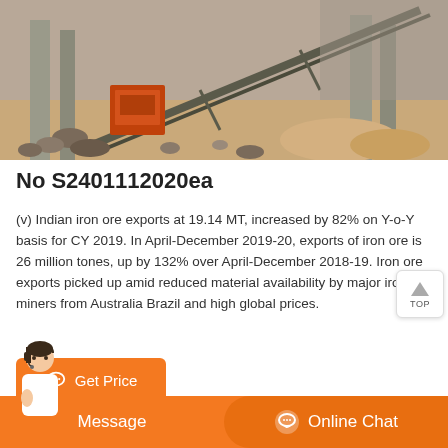[Figure (photo): Mining/quarry site showing a conveyor belt, crusher machine (orange/red), concrete pillars, and rocky terrain with sand piles.]
No S2401112020ea
(v) Indian iron ore exports at 19.14 MT, increased by 82% on Y-o-Y basis for CY 2019. In April-December 2019-20, exports of iron ore is 26 million tones, up by 132% over April-December 2018-19. Iron ore exports picked up amid reduced material availability by major iron ore miners from Australia Brazil and high global prices.
[Figure (other): Orange 'Get Price' button with chat bubble icon]
[Figure (other): Bottom bar with customer service avatar, 'Message' and 'Online Chat' buttons in orange]